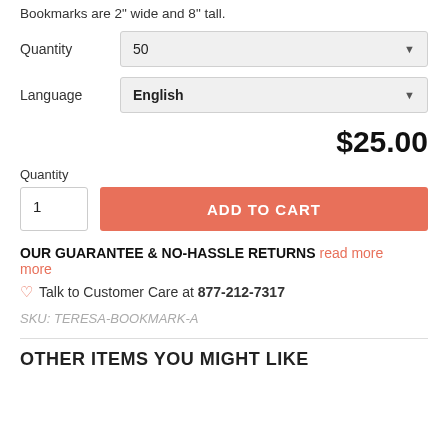Bookmarks are 2" wide and 8" tall.
Quantity  50
Language  English
$25.00
Quantity 1
ADD TO CART
OUR GUARANTEE & NO-HASSLE RETURNS read more
Talk to Customer Care at 877-212-7317
SKU: TERESA-BOOKMARK-A
OTHER ITEMS YOU MIGHT LIKE